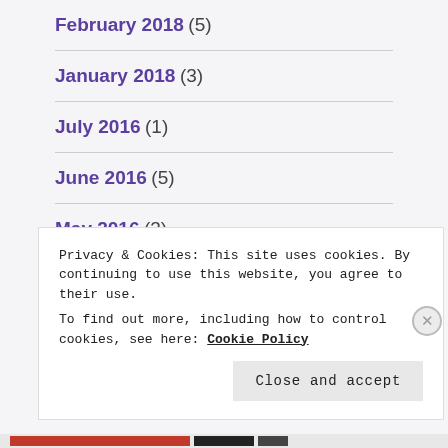February 2018 (5)
January 2018 (3)
July 2016 (1)
June 2016 (5)
May 2016 (3)
April 2016 (3)
Privacy & Cookies: This site uses cookies. By continuing to use this website, you agree to their use.
To find out more, including how to control cookies, see here: Cookie Policy